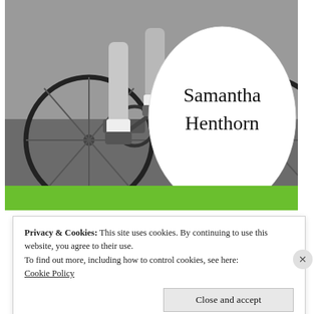[Figure (photo): Black and white photograph of a cyclist's legs and bicycle close-up, with a white oval overlaid containing the text 'Samantha Henthorn' in large serif font. Green banner below the photo.]
Privacy & Cookies: This site uses cookies. By continuing to use this website, you agree to their use.
To find out more, including how to control cookies, see here:
Cookie Policy
Close and accept